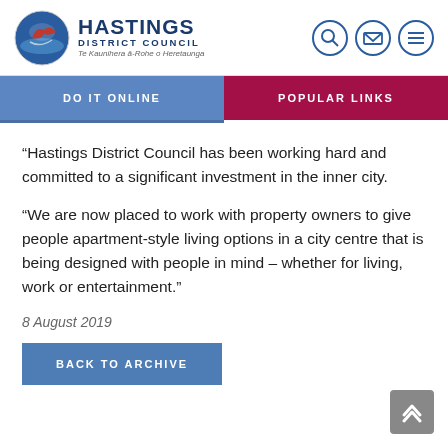Hastings District Council — Te Kaunihera ā-Rohe o Heretaunga
DO IT ONLINE | POPULAR LINKS
“Hastings District Council has been working hard and committed to a significant investment in the inner city.

“We are now placed to work with property owners to give people apartment-style living options in a city centre that is being designed with people in mind – whether for living, work or entertainment.”
8 August 2019
BACK TO ARCHIVE